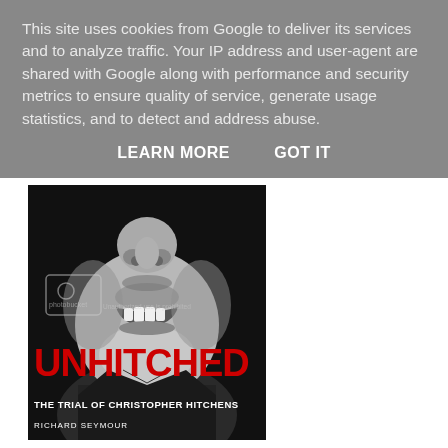This site uses cookies from Google to deliver its services and to analyze traffic. Your IP address and user-agent are shared with Google along with performance and security metrics to ensure quality of service, generate usage statistics, and to detect and address abuse.
LEARN MORE    GOT IT
[Figure (photo): Book cover for 'Unhitched: The Trial of Christopher Hitchens' by Richard Seymour. Black and white close-up photo of a man's lower face (nose to chin, teeth slightly visible). Bold red text reads 'UNHITCHED' at the bottom, with white text subtitle 'THE TRIAL OF CHRISTOPHER HITCHENS' and author name 'RICHARD SEYMOUR' below. A Photobucket watermark is visible over the photo.]